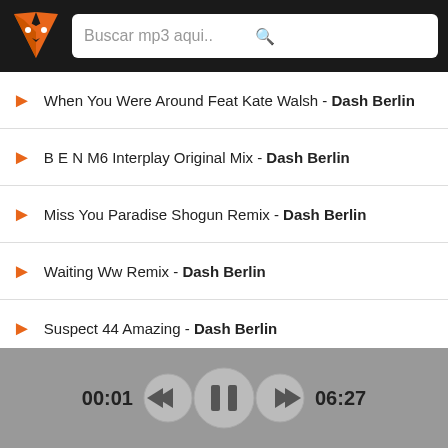[Figure (screenshot): App header with fox logo and search bar saying 'Buscar mp3 aqui..']
When You Were Around Feat Kate Walsh - Dash Berlin
B E N M6 Interplay Original Mix - Dash Berlin
Miss You Paradise Shogun Remix - Dash Berlin
Waiting Ww Remix - Dash Berlin
Suspect 44 Amazing - Dash Berlin
2011 Morning Parade Ae Mix - Dash Berlin
Mike Shiver Y Aruna Everywhere You Are Mix - Dash Berlin
Firefly Ft Ang - Dash Berlin
2011 First State Reverie Remix - Dash Berlin
Janeiro Fast Solid Sessions Extended Mix - Dash Berlin
[Figure (screenshot): Audio player controls showing time 00:01, rewind button, pause button, fast forward button, and total duration 06:27]